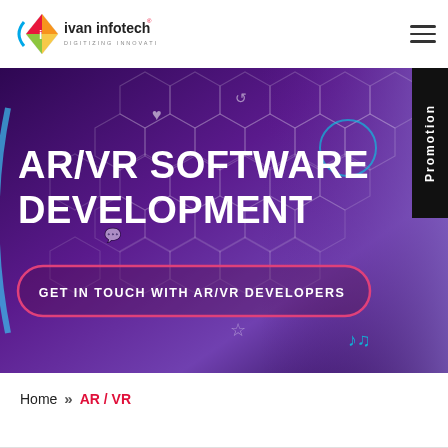ivan infotech - DIGITIZING INNOVATION
[Figure (screenshot): AR/VR Software Development hero banner with hexagonal pattern background in purple tones, featuring a person wearing a VR headset. Large white bold text reads 'AR/VR SOFTWARE DEVELOPMENT' with a pink-bordered call-to-action button 'GET IN TOUCH WITH AR/VR DEVELOPERS'. A black vertical 'Promotion' tab is on the right edge.]
Home » AR / VR